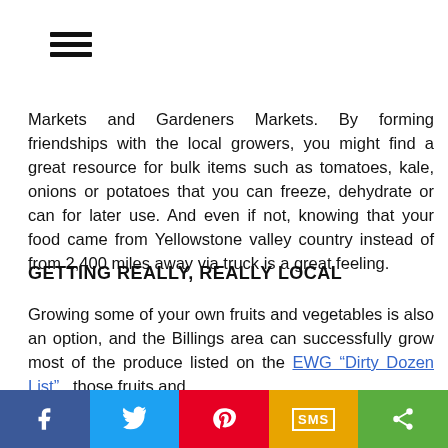Markets and Gardeners Markets. By forming friendships with the local growers, you might find a great resource for bulk items such as tomatoes, kale, onions or potatoes that you can freeze, dehydrate or can for later use. And even if not, knowing that your food came from Yellowstone valley country instead of from 2,400 miles away via truck is a great feeling.
GETTING REALLY, REALLY LOCAL
Growing some of your own fruits and vegetables is also an option, and the Billings area can successfully grow most of the produce listed on the EWG “Dirty Dozen List” — those fruits and
Share bar: Facebook, Twitter, Pinterest, SMS, Share